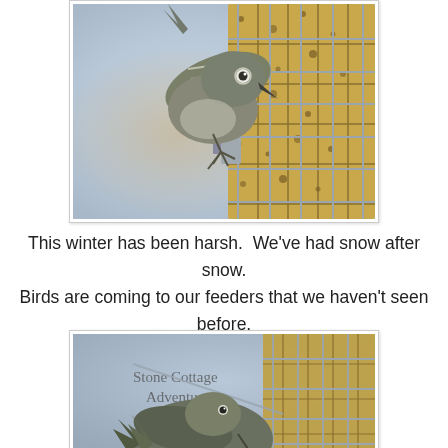[Figure (photo): A small bird (Ruby-crowned Kinglet or similar) perched on a wire suet cage feeder, clinging to the metal grid with yellow-tan suet blocks visible, against a blurred gray-blue background.]
This winter has been harsh.  We've had snow after snow. Birds are coming to our feeders that we haven't seen before.
[Figure (photo): A close-up photo of a small bird (likely a Ruby-crowned Kinglet) clinging to a suet cage feeder, with a watermark reading 'Stone Cottage Adventures'. The bird's red crown patch is faintly visible.]